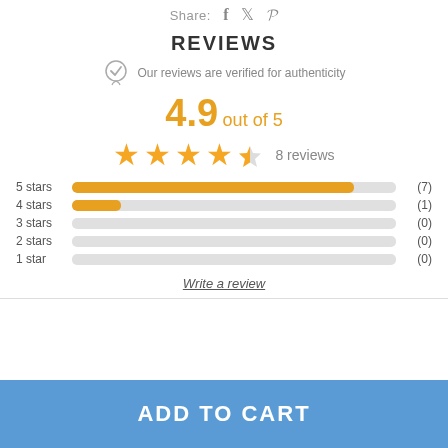Share: f 🐦 p
REVIEWS
Our reviews are verified for authenticity
4.9 out of 5
[Figure (other): Star rating: 4.5 out of 5 stars, 8 reviews]
[Figure (bar-chart): Rating distribution]
Write a review
ADD TO CART